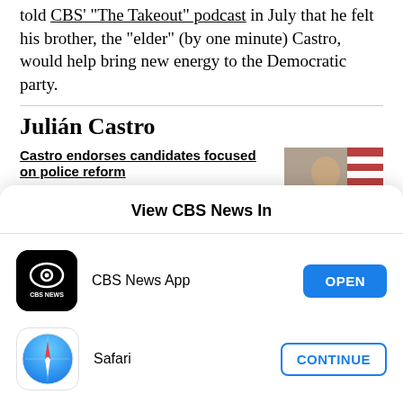told CBS' "The Takeout" podcast in July that he felt his brother, the "elder" (by one minute) Castro, would help bring new energy to the Democratic party.
Julián Castro
Castro endorses candidates focused on police reform
View CBS News In
CBS News App
OPEN
Safari
CONTINUE